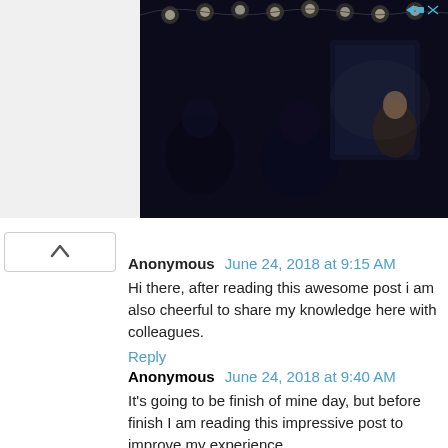[Figure (photo): Dark scene photograph showing people at what appears to be a bar or diner with string lights above, partially cropped at top of page]
Anonymous June 24, 2018 at 9:15 AM
Hi there, after reading this awesome post i am also cheerful to share my knowledge here with colleagues.
Reply
Anonymous June 24, 2018 at 9:40 AM
It's going to be finish of mine day, but before finish I am reading this impressive post to improve my experience.
Reply
Anonymous June 24, 2018 at 10:20 AM
Thanks for some other informative blog. Where else could I am getting that kind of information written in such an ideal